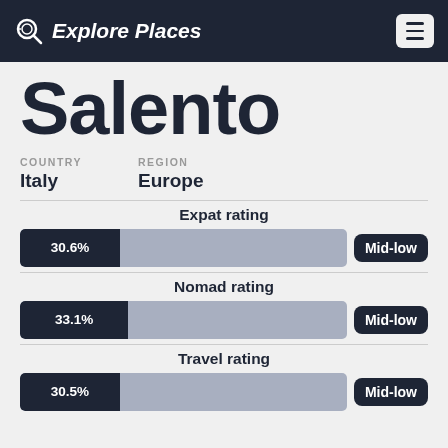Explore Places
Salento
COUNTRY: Italy  REGION: Europe
[Figure (bar-chart): Expat rating]
[Figure (bar-chart): Nomad rating]
[Figure (bar-chart): Travel rating]